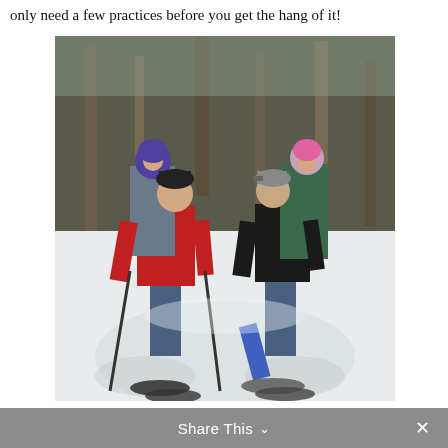only need a few practices before you get the hang of it!
[Figure (photo): Two adults snowshoeing in a snowy forest trail, each carrying a toddler in a backpack child carrier. The person on the left wears a red jacket and holds ski poles; the child in their carrier wears a purple jacket and hat. The person on the right wears a black jacket and baseball cap; the child in their carrier wears a pink hat. Both adults are smiling at the camera.]
Share This ∨  ✕